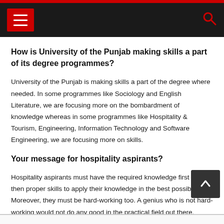Navigation bar with hamburger menu and search icon
How is University of the Punjab making skills a part of its degree programmes?
University of the Punjab is making skills a part of the degree where needed. In some programmes like Sociology and English Literature, we are focusing more on the bombardment of knowledge whereas in some programmes like Hospitality & Tourism, Engineering, Information Technology and Software Engineering, we are focusing more on skills.
Your message for hospitality aspirants?
Hospitality aspirants must have the required knowledge first and then proper skills to apply their knowledge in the best possible way. Moreover, they must be hard-working too. A genius who is not hard-working would not do any good in the practical field out there.